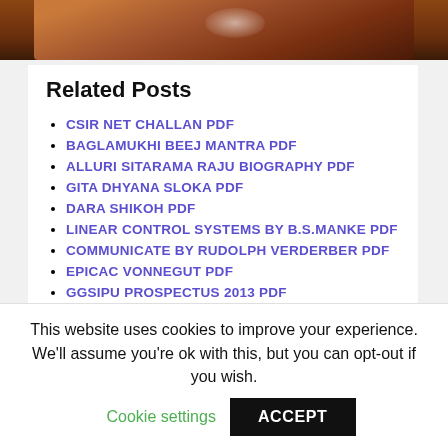[Figure (photo): Close-up photo of a brown animal (likely a horse or similar), showing skin/fur detail with a highlight reflection, cropped at the bottom edge of a card.]
Related Posts
CSIR NET CHALLAN PDF
BAGLAMUKHI BEEJ MANTRA PDF
ALLURI SITARAMA RAJU BIOGRAPHY PDF
GITA DHYANA SLOKA PDF
DARA SHIKOH PDF
LINEAR CONTROL SYSTEMS BY B.S.MANKE PDF
COMMUNICATE BY RUDOLPH VERDERBER PDF
EPICAC VONNEGUT PDF
GGSIPU PROSPECTUS 2013 PDF
This website uses cookies to improve your experience. We'll assume you're ok with this, but you can opt-out if you wish. Cookie settings ACCEPT